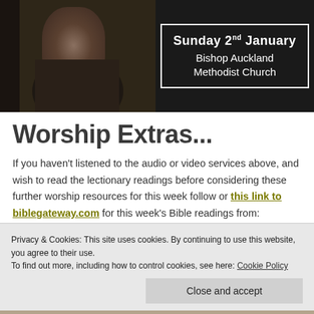[Figure (photo): Top banner with two panels: left panel shows a dark portrait painting of a figure holding a book, right panel shows a black background with a white-bordered box containing text 'Sunday 2nd January / Bishop Auckland Methodist Church']
Worship Extras...
If you haven't listened to the audio or video services above, and wish to read the lectionary readings before considering these further worship resources for this week follow or this link to biblegateway.com for this week's Bible readings from:
Privacy & Cookies: This site uses cookies. By continuing to use this website, you agree to their use.
To find out more, including how to control cookies, see here: Cookie Policy
Close and accept
Bible readings and inspiration... or get them on the telephone on